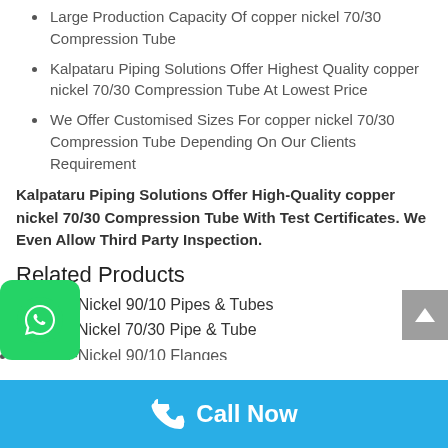Large Production Capacity Of copper nickel 70/30 Compression Tube
Kalpataru Piping Solutions Offer Highest Quality copper nickel 70/30 Compression Tube At Lowest Price
We Offer Customised Sizes For copper nickel 70/30 Compression Tube Depending On Our Clients Requirement
Kalpataru Piping Solutions Offer High-Quality copper nickel 70/30 Compression Tube With Test Certificates. We Even Allow Third Party Inspection.
Related Products
Copper-Nickel 90/10 Pipes & Tubes
Copper Nickel 70/30 Pipe & Tube
Copper-Nickel 90/10 Flanges